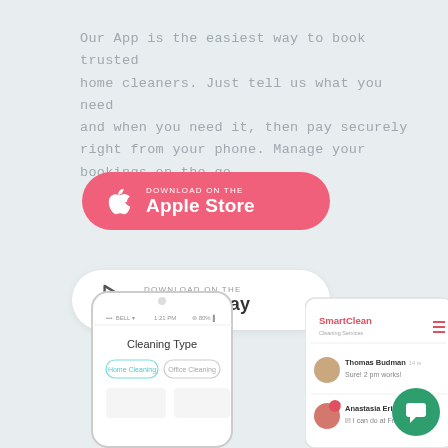Our App is the easiest way to book trusted home cleaners. Just tell us what you need and when you need it, then pay securely right from your phone. Manage your bookings on the go.
[Figure (other): Download on the Apple Store button — pink/red rounded rectangle with Apple logo icon and text 'DOWNLOAD ON THE Apple Store']
[Figure (other): Download on the Google Play button — white rounded rectangle with play store triangle icon and text 'DOWNLOAD ON THE Google Play']
[Figure (screenshot): Smartphone mockup showing a cleaning app with 'Cleaning Type' screen, options for Home Cleaning and Office Cleaning]
[Figure (screenshot): Tablet/app mockup showing SmartClean Cleaning Services interface with messages from Thomas Budman: 'Sure! 2 pm works!' and Anastasia Erina: 'I!! I can do at Friday!']
[Figure (other): Green circular chat/support button in bottom right corner]